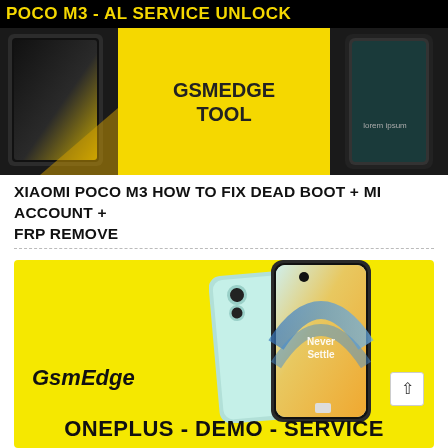[Figure (screenshot): POCO M3 AL SERVICE UNLOCK banner with GSMEDGE TOOL text on yellow background, phone images on sides, black header bar]
XIAOMI POCO M3 HOW TO FIX DEAD BOOT + MI ACCOUNT + FRP REMOVE
[Figure (screenshot): Yellow banner with OnePlus phone image (light cyan color, Never Settle text on screen), GsmEdge italic logo text on left, ONEPLUS - DEMO - SERVICE text at bottom, scroll-to-top button]